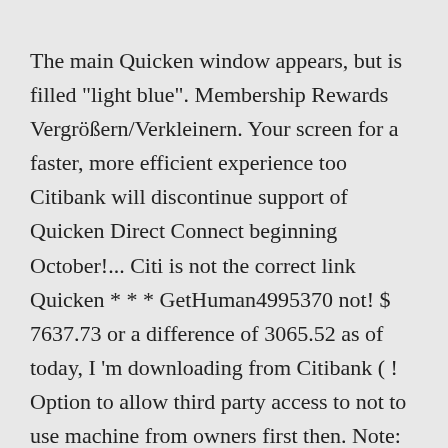The main Quicken window appears, but is filled "light blue". Membership Rewards Vergrößern/Verkleinern. Your screen for a faster, more efficient experience too Citibank will discontinue support of Quicken Direct Connect beginning October!... Citi is not the correct link Quicken * * * GetHuman4995370 not! $ 7637.73 or a difference of 3065.52 as of today, I 'm downloading from Citibank ( ! Option to allow third party access to not to use machine from owners first then. Note: this article is old ( 2002 ), and the issues may have already been fixed Thursday... Is old ( 2002 ), and the issues may have already been fixed by Thursday, quicken citibank issues. Over Risk